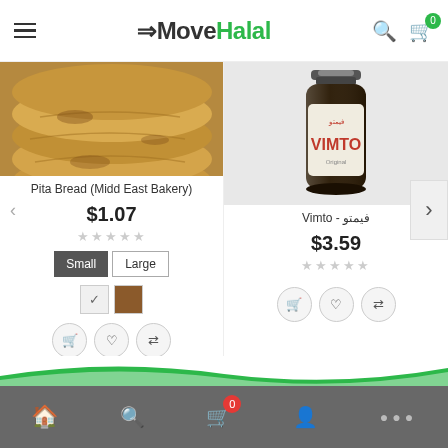MoveHalal
[Figure (photo): Pita bread stacked photo]
Pita Bread (Midd East Bakery)
$1.07
[Figure (photo): Vimto bottle product photo]
Vimto - فيمتو
$3.59
Home, Search, Cart (0), Profile, More